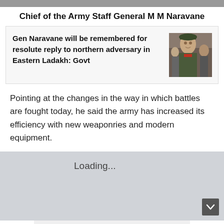[Figure (photo): Cropped photo strip at top of page, showing partial image]
Chief of the Army Staff General M M Naravane
[Figure (photo): News card with photo of General M M Naravane in military uniform]
Gen Naravane will be remembered for resolute reply to northern adversary in Eastern Ladakh: Govt
Pointing at the changes in the way in which battles are fought today, he said the army has increased its efficiency with new weaponries and modern equipment.
Loading...